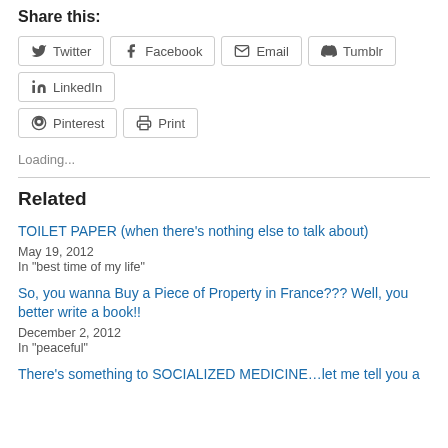Share this:
Twitter
Facebook
Email
Tumblr
LinkedIn
Pinterest
Print
Loading...
Related
TOILET PAPER (when there's nothing else to talk about)
May 19, 2012
In "best time of my life"
So, you wanna Buy a Piece of Property in France??? Well, you better write a book!!
December 2, 2012
In "peaceful"
There's something to SOCIALIZED MEDICINE…let me tell you a